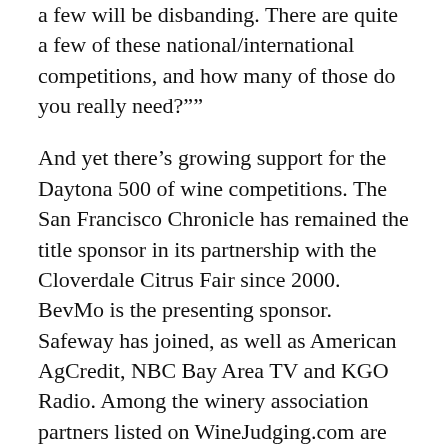a few will be disbanding. There are quite a few of these national/international competitions, and how many of those do you really need?””
And yet there’s growing support for the Daytona 500 of wine competitions. The San Francisco Chronicle has remained the title sponsor in its partnership with the Cloverdale Citrus Fair since 2000. BevMo is the presenting sponsor. Safeway has joined, as well as American AgCredit, NBC Bay Area TV and KGO Radio. Among the winery association partners listed on WineJudging.com are the Oregon Wine Board and the Willamette Valley Wineries.
Fraser remains the eye of the hurricane for the competition he was hired to take over in 1984, but he now shares responsibility as director with son, Scott, and teaches only part-time at Santa Rosa Junior